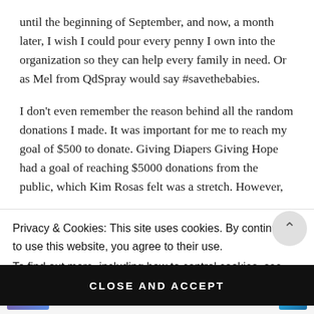until the beginning of September, and now, a month later, I wish I could pour every penny I own into the organization so they can help every family in need. Or as Mel from QdSpray would say #savethebabies.
I don't even remember the reason behind all the random donations I made. It was important for me to reach my goal of $500 to donate. Giving Diapers Giving Hope had a goal of reaching $5000 donations from the public, which Kim Rosas felt was a stretch. However,
Privacy & Cookies: This site uses cookies. By continuing to use this website, you agree to their use.
To find out more, including how to control cookies, see here: Cookie Policy
CLOSE AND ACCEPT